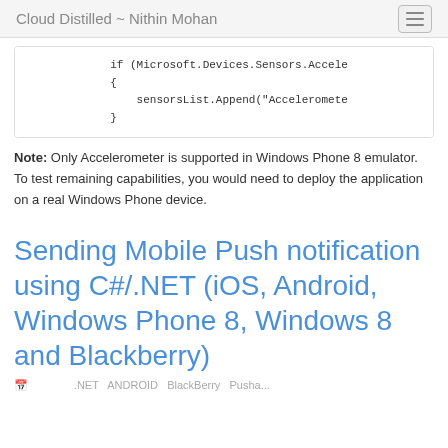Cloud Distilled ~ Nithin Mohan
if (Microsoft.Devices.Sensors.Accele
{
    sensorsList.Append("Acceleromete
}
Note: Only Accelerometer is supported in Windows Phone 8 emulator. To test remaining capabilities, you would need to deploy the application on a real Windows Phone device.
Sending Mobile Push notification using C#/.NET (iOS, Android, Windows Phone 8, Windows 8 and Blackberry)
...